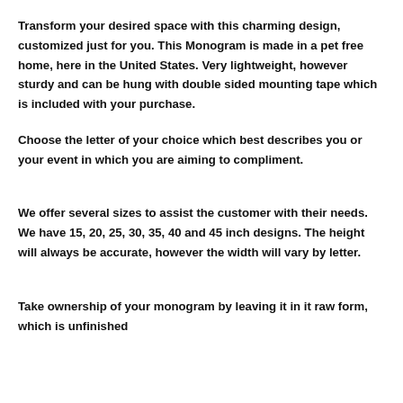Transform your desired space with this charming design, customized just for you. This Monogram is made in a pet free home, here in the United States. Very lightweight, however sturdy and can be hung with double sided mounting tape which is included with your purchase.
Choose the letter of your choice which best describes you or your event in which you are aiming to compliment.
We offer several sizes to assist the customer with their needs. We have 15, 20, 25, 30, 35, 40 and 45 inch designs. The height will always be accurate, however the width will vary by letter.
Take ownership of your monogram by leaving it in it raw form, which is unfinished